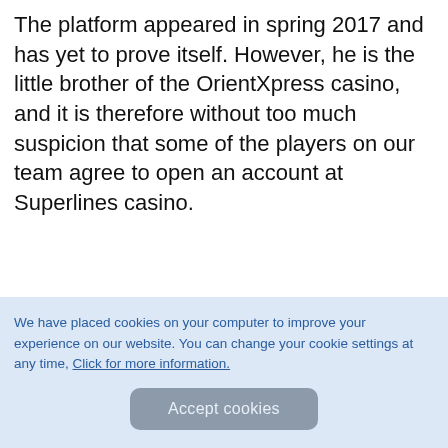The platform appeared in spring 2017 and has yet to prove itself. However, he is the little brother of the OrientXpress casino, and it is therefore without too much suspicion that some of the players on our team agree to open an account at Superlines casino.
We have placed cookies on your computer to improve your experience on our website. You can change your cookie settings at any time, Click for more information.